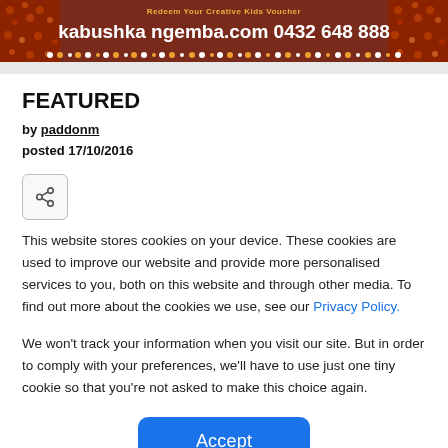[Figure (illustration): Banner with dark reddish-brown background, decorative Aboriginal dot art patterns on sides, top text 'Redeem Your Creative Kids Voucher', main text 'kabushka ngemba.com 0432 648 888', dot row decoration at bottom]
FEATURED
by paddonm
posted 17/10/2016
[Figure (other): Share button icon — rounded square button with share/network icon]
This website stores cookies on your device. These cookies are used to improve our website and provide more personalised services to you, both on this website and through other media. To find out more about the cookies we use, see our Privacy Policy.
We won't track your information when you visit our site. But in order to comply with your preferences, we'll have to use just one tiny cookie so that you're not asked to make this choice again.
Accept